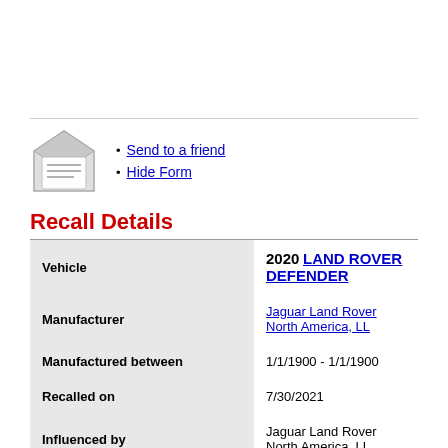[Figure (illustration): Email envelope icon — open envelope with a letter inside]
Send to a friend
Hide Form
Recall Details
| Field | Value |
| --- | --- |
| Vehicle | 2020 LAND ROVER DEFENDER |
| Manufacturer | Jaguar Land Rover North America, LL |
| Manufactured between | 1/1/1900 - 1/1/1900 |
| Recalled on | 7/30/2021 |
| Influenced by | Jaguar Land Rover North America, LL |
| Owners Notified on | 9/23/2021 |
| # Affected | 7,027 |